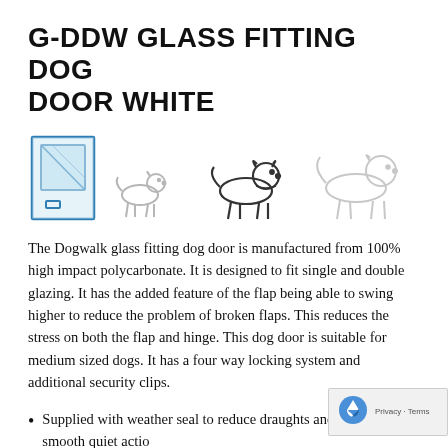G-DDW GLASS FITTING DOG DOOR WHITE
[Figure (illustration): Product icons: a glass door panel (blue tinted), a small dog silhouette, a medium dog silhouette, and a larger dog silhouette, all in outline style.]
The Dogwalk glass fitting dog door is manufactured from 100% high impact polycarbonate. It is designed to fit single and double glazing. It has the added feature of the flap being able to swing higher to reduce the problem of broken flaps. This reduces the stress on both the flap and hinge. This dog door is suitable for medium sized dogs. It has a four way locking system and additional security clips.
Supplied with weather seal to reduce draughts and enable a smooth quiet action
Self lining